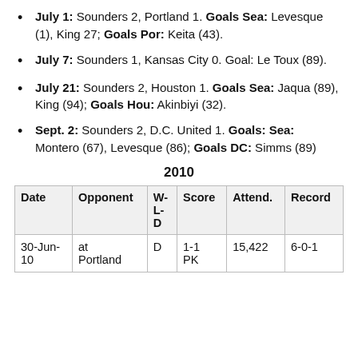July 1: Sounders 2, Portland 1. Goals Sea: Levesque (1), King 27; Goals Por: Keita (43).
July 7: Sounders 1, Kansas City 0. Goal: Le Toux (89).
July 21: Sounders 2, Houston 1. Goals Sea: Jaqua (89), King (94); Goals Hou: Akinbiyi (32).
Sept. 2: Sounders 2, D.C. United 1. Goals: Sea: Montero (67), Levesque (86); Goals DC: Simms (89)
2010
| Date | Opponent | W-L-D | Score | Attend. | Record |
| --- | --- | --- | --- | --- | --- |
| 30-Jun-10 | at Portland | D | 1-1 PK | 15,422 | 6-0-1 |